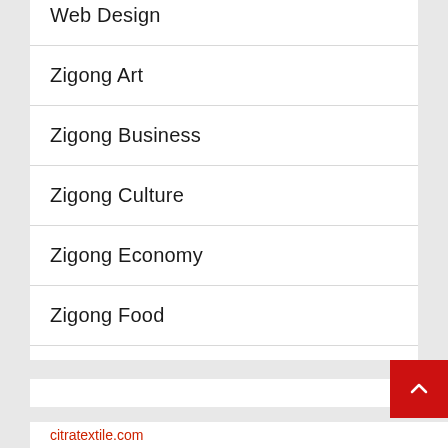Web Design
Zigong Art
Zigong Business
Zigong Culture
Zigong Economy
Zigong Food
Zigong Tech
citratextile.com